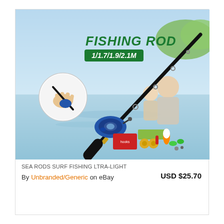[Figure (photo): Product photo of a telescopic fishing rod with spinning reel and accessories (hooks, floats, lures, line). Text overlay reads 'FISHING ROD 1/1.7/1.9/2.1M'. Background shows two people fishing by a lake.]
SEA RODS SURF FISHING LTRA-LIGHT
By Unbranded/Generic on eBay   USD $25.70